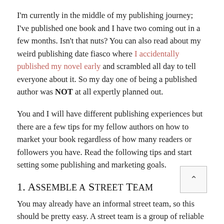I'm currently in the middle of my publishing journey; I've published one book and I have two coming out in a few months. Isn't that nuts? You can also read about my weird publishing date fiasco where I accidentally published my novel early and scrambled all day to tell everyone about it. So my day one of being a published author was NOT at all expertly planned out.
You and I will have different publishing experiences but there are a few tips for my fellow authors on how to market your book regardless of how many readers or followers you have. Read the following tips and start setting some publishing and marketing goals.
1. Assemble a Street Team
You may already have an informal street team, so this should be pretty easy. A street team is a group of reliable and good